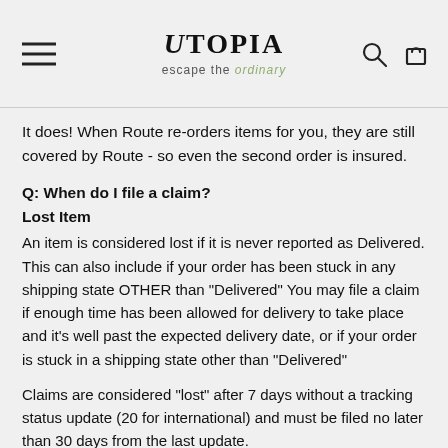UTOPIA escape the ordinary
It does! When Route re-orders items for you, they are still covered by Route - so even the second order is insured.
Q: When do I file a claim?
Lost Item
An item is considered lost if it is never reported as Delivered. This can also include if your order has been stuck in any shipping state OTHER than "Delivered" You may file a claim if enough time has been allowed for delivery to take place and it's well past the expected delivery date, or if your order is stuck in a shipping state other than "Delivered"
Claims are considered "lost" after 7 days without a tracking status update (20 for international) and must be filed no later than 30 days from the last update.
Damaged Order